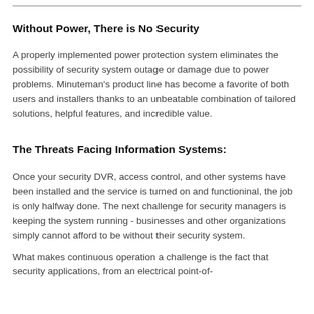Without Power, There is No Security
A properly implemented power protection system eliminates the possibility of security system outage or damage due to power problems. Minuteman's product line has become a favorite of both users and installers thanks to an unbeatable combination of tailored solutions, helpful features, and incredible value.
The Threats Facing Information Systems:
Once your security DVR, access control, and other systems have been installed and the service is turned on and functioninal, the job is only halfway done. The next challenge for security managers is keeping the system running - businesses and other organizations simply cannot afford to be without their security system.
What makes continuous operation a challenge is the fact that security applications, from an electrical point-of-view, are littered with a number of...